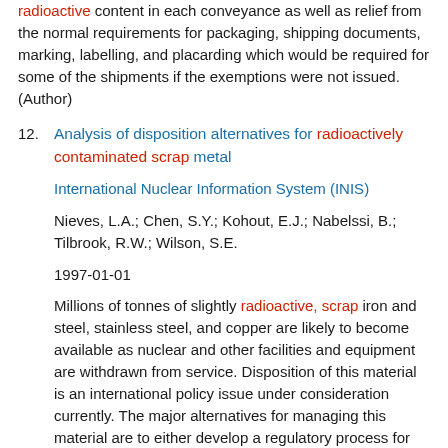radioactive content in each conveyance as well as relief from the normal requirements for packaging, shipping documents, marking, labelling, and placarding which would be required for some of the shipments if the exemptions were not issued. (Author)
12. Analysis of disposition alternatives for radioactively contaminated scrap metal
International Nuclear Information System (INIS)
Nieves, L.A.; Chen, S.Y.; Kohout, E.J.; Nabelssi, B.; Tilbrook, R.W.; Wilson, S.E.
1997-01-01
Millions of tonnes of slightly radioactive, scrap iron and steel, stainless steel, and copper are likely to become available as nuclear and other facilities and equipment are withdrawn from service. Disposition of this material is an international policy issue under consideration currently. The major alternatives for managing this material are to either develop a regulatory process for decontamination and recycling that will safeguard human health or to dispose of the scrap and replace the metal